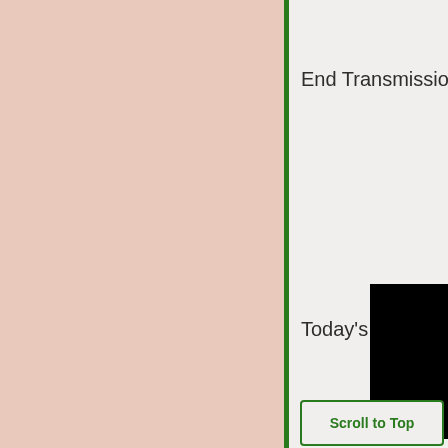[Figure (illustration): Left panel with pinkish-beige background color filling approximately 63% of the page width, separated from the right panel by a green vertical border.]
End Transmission.......
Today's Song is
[Figure (photo): Black rectangle/image partially visible in the lower right area of the right panel.]
Scroll to Top